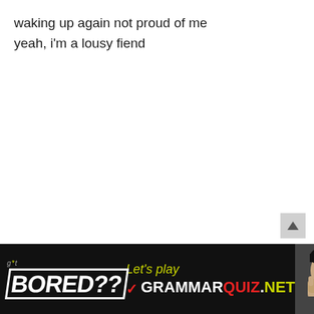waking up again not proud of me
yeah, i'm a lousy fiend
[Figure (infographic): Advertisement banner: black background with 'g*t BORED??' logo on left in white bold text with border, center shows 'Let's play' in yellow-green italic and 'GRAMMARQUIZ.NET' in large bold with GRAMMAR in white, QUIZ in red, .NET in yellow-green, and a red checkmark. Right side shows a photo of a person with their face in their hands.]